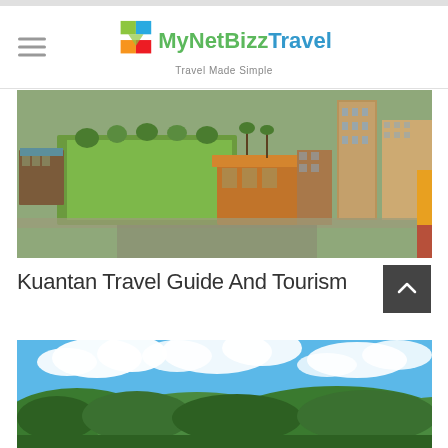MyNetBizz Travel — Travel Made Simple
[Figure (photo): Aerial view of Kuantan city showing green field, colonial-style buildings with orange roofs, palm trees, and modern high-rise buildings in the background]
Kuantan Travel Guide And Tourism
[Figure (photo): Panoramic landscape photo of green forested hills under a bright blue sky with white clouds]